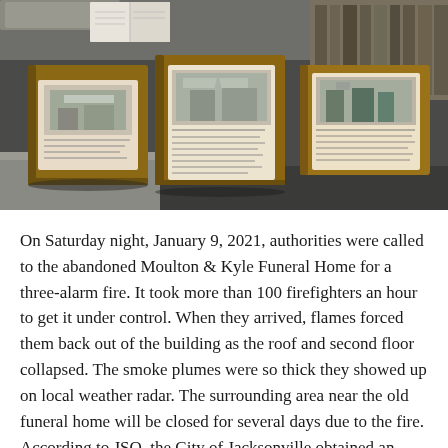[Figure (photo): Photograph of three old wooden boxes with historical photographs and papers attached to their fronts, sitting on a surface in what appears to be an abandoned building. The boxes appear to be funeral home keepsakes or memory boxes.]
On Saturday night, January 9, 2021, authorities were called to the abandoned Moulton & Kyle Funeral Home for a three-alarm fire. It took more than 100 firefighters an hour to get it under control. When they arrived, flames forced them back out of the building as the roof and second floor collapsed. The smoke plumes were so thick they showed up on local weather radar. The surrounding area near the old funeral home will be closed for several days due to the fire. According to JSO, the City of Jacksonville obtained an